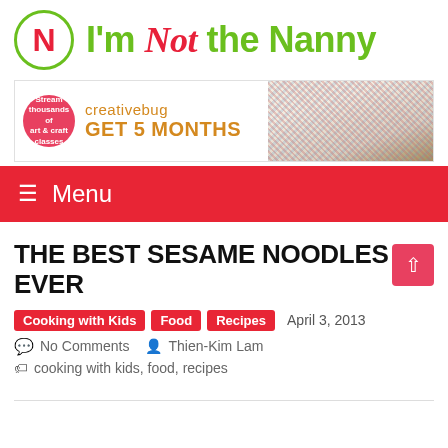I'm Not the Nanny
[Figure (logo): Green circle with red N logo for I'm Not the Nanny blog]
[Figure (infographic): Creativebug advertisement banner: Stream thousands of art & craft classes. GET 5 MONTHS. Shows embroidery hoop craft image on right.]
Menu
THE BEST SESAME NOODLES EVER
Cooking with Kids | Food | Recipes | April 3, 2013
No Comments  Thien-Kim Lam
cooking with kids, food, recipes